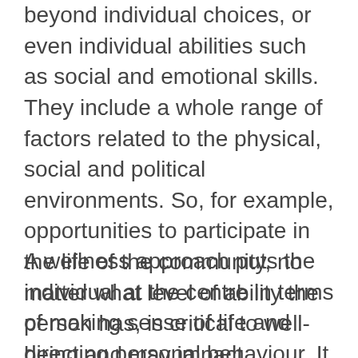beyond individual choices, or even individual abilities such as social and emotional skills. They include a whole range of factors related to the physical, social and political environments. So, for example, opportunities to participate in the life of the community, no matter what level of ability the person has, is critical to well-being and may impact decisions related to substance use.
A wellness approach puts the individual at the centre in terms of making sense of life and directing personal behaviour. It may mean encouraging reflection on goals